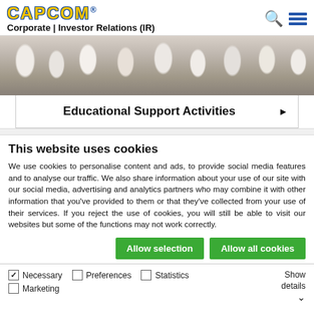CAPCOM® Corporate | Investor Relations (IR)
[Figure (photo): Photo of students or crowd from behind, people raising hands in a classroom or auditorium setting]
Educational Support Activities ▶
This website uses cookies
We use cookies to personalise content and ads, to provide social media features and to analyse our traffic. We also share information about your use of our site with our social media, advertising and analytics partners who may combine it with other information that you've provided to them or that they've collected from your use of their services. If you reject the use of cookies, you will still be able to visit our websites but some of the functions may not work correctly.
Allow selection | Allow all cookies
✓ Necessary  ☐ Preferences  ☐ Statistics  ☐ Marketing  Show details ∨